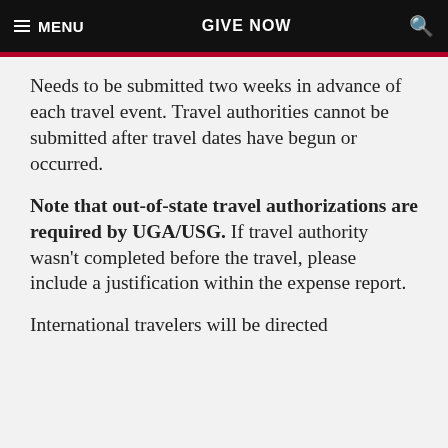MENU | GIVE NOW | Search
Needs to be submitted two weeks in advance of each travel event. Travel authorities cannot be submitted after travel dates have begun or occurred.
Note that out-of-state travel authorizations are required by UGA/USG. If travel authority wasn't completed before the travel, please include a justification within the expense report.
International travelers will be directed